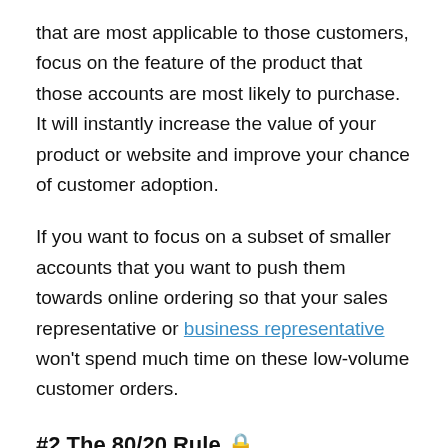that are most applicable to those customers, focus on the feature of the product that those accounts are most likely to purchase. It will instantly increase the value of your product or website and improve your chance of customer adoption.
If you want to focus on a subset of smaller accounts that you want to push them towards online ordering so that your sales representative or business representative won't spend much time on these low-volume customer orders.
#2 The 80/20 Rule 🔒
Most popular brands stats states that 80% of your sales come from only 20% of your inventory. If you focus on